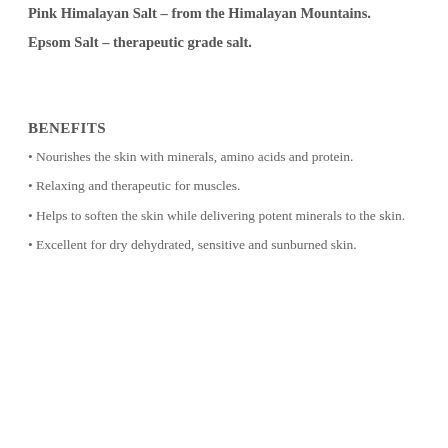Pink Himalayan Salt - from the Himalayan Mountains.
Epsom Salt - therapeutic grade salt.
BENEFITS
Nourishes the skin with minerals, amino acids and protein.
Relaxing and therapeutic for muscles.
Helps to soften the skin while delivering potent minerals to the skin.
Excellent for dry dehydrated, sensitive and sunburned skin.